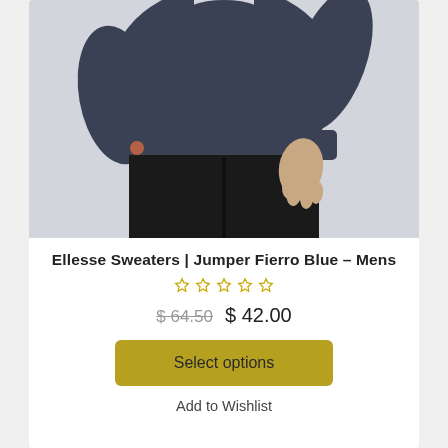[Figure (photo): Man wearing a navy blue Ellesse sweatshirt/jumper with black trousers, cropped to show torso and hands against a light grey background]
Ellesse Sweaters | Jumper Fierro Blue – Mens
[Figure (other): 5 empty/unfilled star rating icons in gold/yellow color]
$ 64.50  $ 42.00
Select options
Add to Wishlist